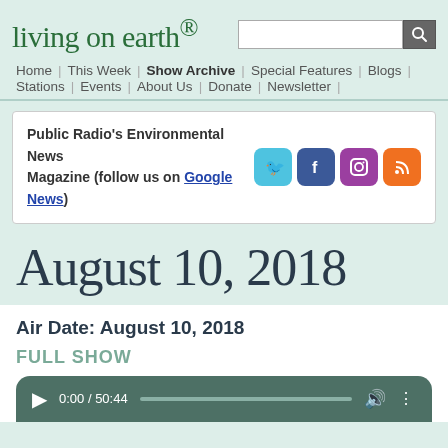living on earth®
Home | This Week | Show Archive | Special Features | Blogs | Stations | Events | About Us | Donate | Newsletter |
Public Radio's Environmental News Magazine (follow us on Google News)
August 10, 2018
Air Date: August 10, 2018
FULL SHOW
0:00 / 50:44